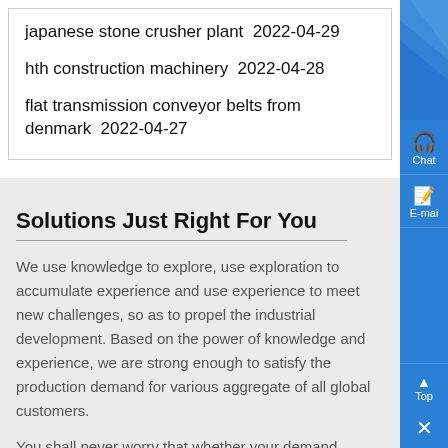japanese stone crusher plant  2022-04-29
hth construction machinery  2022-04-28
flat transmission conveyor belts from denmark  2022-04-27
Solutions Just Right For You
We use knowledge to explore, use exploration to accumulate experience and use experience to meet new challenges, so as to propel the industrial development. Based on the power of knowledge and experience, we are strong enough to satisfy the production demand for various aggregate of all global customers.
You shall never worry that whether your demand exceeds our